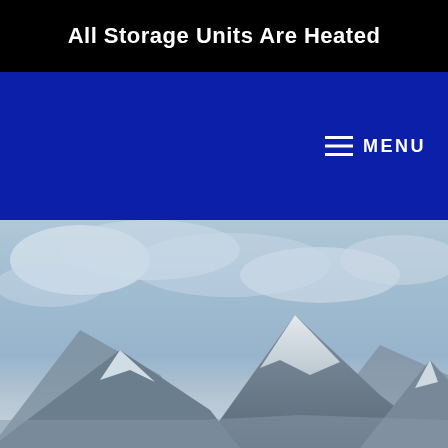All Storage Units Are Heated
≡ MENU
[Figure (photo): Aerial photograph of snow-capped mountain peaks against a cloudy blue-grey sky, suggesting a cold alpine environment.]